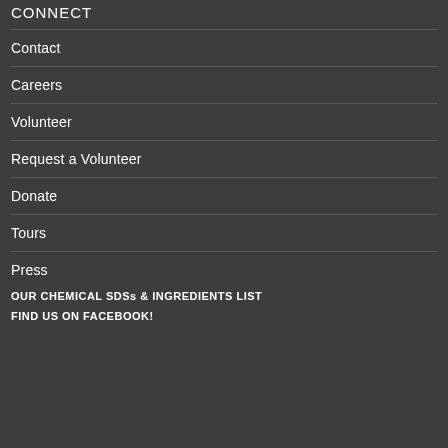CONNECT
Contact
Careers
Volunteer
Request a Volunteer
Donate
Tours
Press
OUR CHEMICAL SDSs & INGREDIENTS LIST
FIND US ON FACEBOOK!